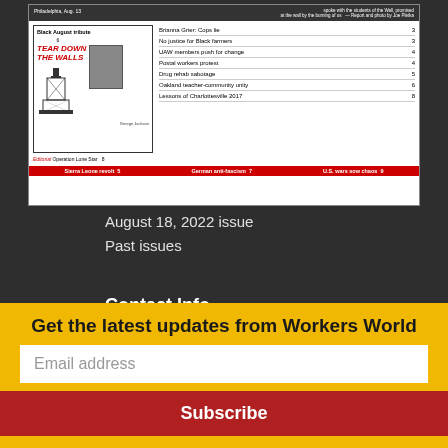[Figure (other): Magazine cover thumbnail showing Workers World newspaper - August 18 2022 issue with Black August tribute, article listings including Brianna Grier Cops lie, No justice for Black farmers, UAW members push for change, Postal workers protest, Drug rehab sabotage, Oakland teacher-community unity, Editorial Operation Lone Star, Lessons of Charlottesville 2017, and bottom bar with Sierra Leone revolt, German anti-fascism, U.S. wars sow chaos]
August 18, 2022 issue
Past issues
Contact Info
National Office
147 W. 24th St. 2nd Fl.
New York, NY 10011
Get the latest updates from Workers World
Email address
Subscribe